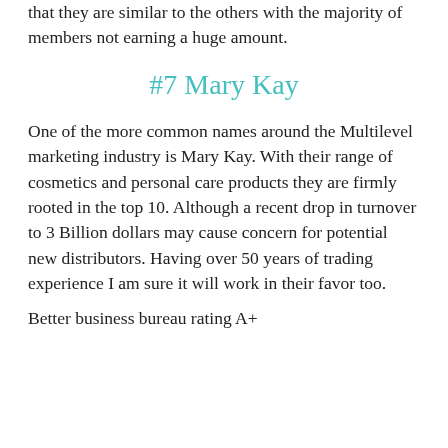that they are similar to the others with the majority of members not earning a huge amount.
#7 Mary Kay
One of the more common names around the Multilevel marketing industry is Mary Kay. With their range of cosmetics and personal care products they are firmly rooted in the top 10. Although a recent drop in turnover to 3 Billion dollars may cause concern for potential new distributors. Having over 50 years of trading experience I am sure it will work in their favor too.
Better business bureau rating A+